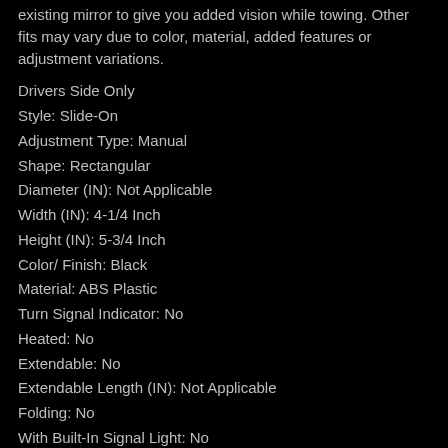existing mirror to give you added vision while towing. Other fits may vary due to color, material, added features or adjustment variations.
Drivers Side Only
Style: Slide-On
Adjustment Type: Manual
Shape: Rectangular
Diameter (IN): Not Applicable
Width (IN): 4-1/4 Inch
Height (IN): 5-3/4 Inch
Color/ Finish: Black
Material: ABS Plastic
Turn Signal Indicator: No
Heated: No
Extendable: No
Extendable Length (IN): Not Applicable
Folding: No
With Built-In Signal Light: No